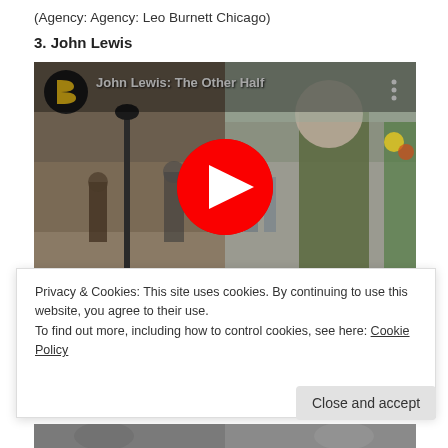(Agency: Agency: Leo Burnett Chicago)
3. John Lewis
[Figure (screenshot): YouTube video embed showing 'John Lewis: The Other Half' with a play button overlay. The video thumbnail shows a split scene: left side depicts a vintage street scene with people walking, right side shows a young man in a green jacket. A YouTube-style logo (letter B in a dark circle with yellow accent) appears top left, video title top center, and a red circular play button in the center.]
Privacy & Cookies: This site uses cookies. By continuing to use this website, you agree to their use.
To find out more, including how to control cookies, see here: Cookie Policy
Close and accept